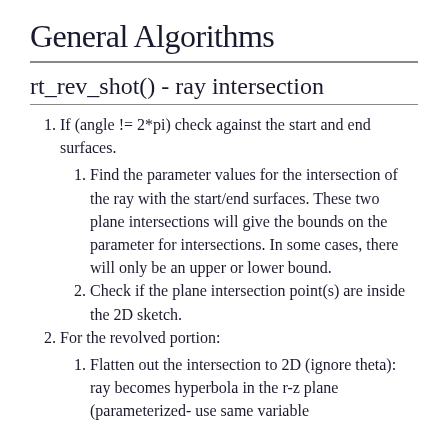General Algorithms
rt_rev_shot() - ray intersection
If (angle != 2*pi) check against the start and end surfaces.
Find the parameter values for the intersection of the ray with the start/end surfaces. These two plane intersections will give the bounds on the parameter for intersections. In some cases, there will only be an upper or lower bound.
Check if the plane intersection point(s) are inside the 2D sketch.
For the revolved portion:
Flatten out the intersection to 2D (ignore theta): ray becomes hyperbola in the r-z plane (parameterized- use same variable